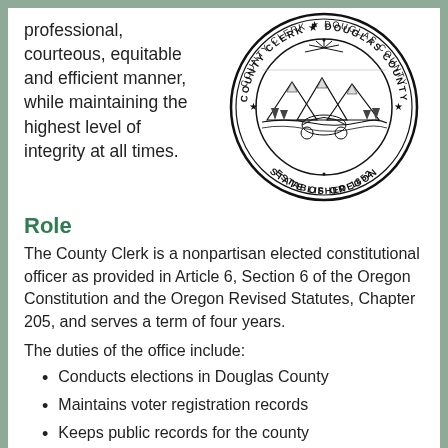professional, courteous, equitable and efficient manner, while maintaining the highest level of integrity at all times.
[Figure (logo): County Clerk Douglas County seal, State of Oregon, Established 1852]
Role
The County Clerk is a nonpartisan elected constitutional officer as provided in Article 6, Section 6 of the Oregon Constitution and the Oregon Revised Statutes, Chapter 205, and serves a term of four years.
The duties of the office include:
Conducts elections in Douglas County
Maintains voter registration records
Keeps public records for the county
Records real
[Figure (illustration): Green illustration of pine trees and mountains (partial, bottom right corner)]